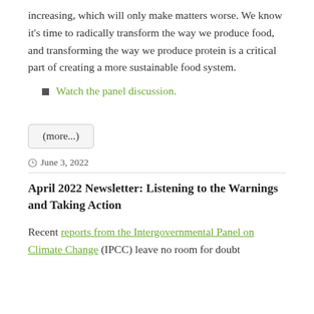increasing, which will only make matters worse. We know it's time to radically transform the way we produce food, and transforming the way we produce protein is a critical part of creating a more sustainable food system.
Watch the panel discussion.
(more...)
June 3, 2022
April 2022 Newsletter: Listening to the Warnings and Taking Action
Recent reports from the Intergovernmental Panel on Climate Change (IPCC) leave no room for doubt